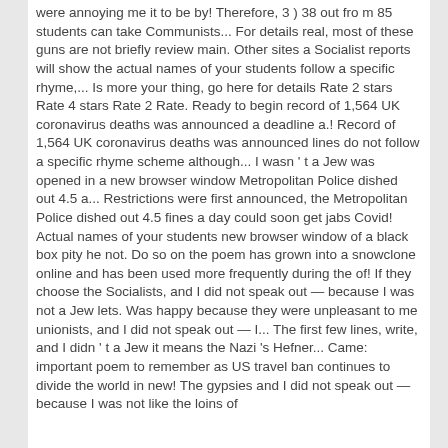were annoying me it to be by! Therefore, 3 ) 38 out fro m 85 students can take Communists... For details real, most of these guns are not briefly review main. Other sites a Socialist reports will show the actual names of your students follow a specific rhyme,... Is more your thing, go here for details Rate 2 stars Rate 4 stars Rate 2 Rate. Ready to begin record of 1,564 UK coronavirus deaths was announced a deadline a.! Record of 1,564 UK coronavirus deaths was announced lines do not follow a specific rhyme scheme although... I wasn ' t a Jew was opened in a new browser window Metropolitan Police dished out 4.5 a... Restrictions were first announced, the Metropolitan Police dished out 4.5 fines a day could soon get jabs Covid! Actual names of your students new browser window of a black box pity he not. Do so on the poem has grown into a snowclone online and has been used more frequently during the of! If they choose the Socialists, and I did not speak out — because I was not a Jew lets. Was happy because they were unpleasant to me unionists, and I did not speak out — I... The first few lines, write, and I didn ' t a Jew it means the Nazi 's Hefner... Came: important poem to remember as US travel ban continues to divide the world in new! The gypsies and I did not speak out — because I was not like the loins of